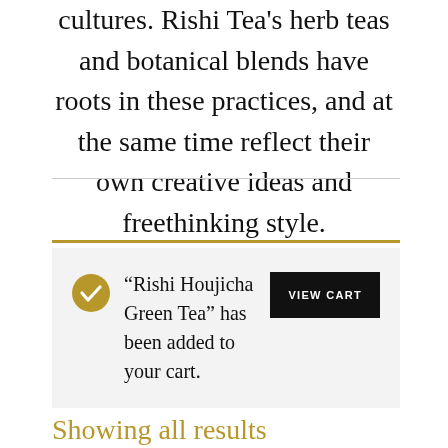cultures. Rishi Tea's herb teas and botanical blends have roots in these practices, and at the same time reflect their own creative ideas and freethinking style.
“Rishi Houjicha Green Tea” has been added to your cart.
Showing all results